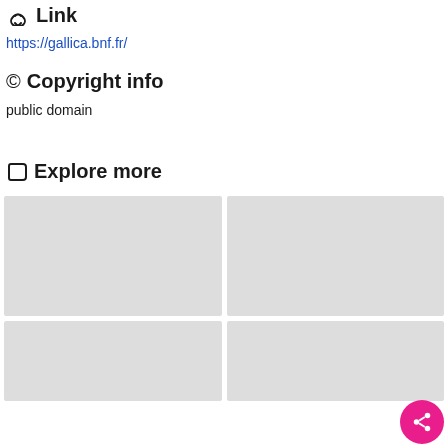Link
https://gallica.bnf.fr/
Copyright info
public domain
Explore more
[Figure (other): Four gray placeholder image tiles in a 2x2 grid, with a pink share FAB button in the bottom right corner]